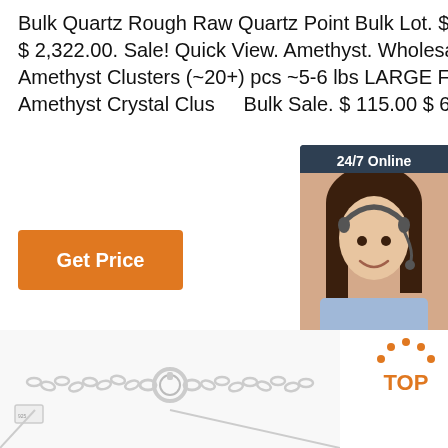Bulk Quartz Rough Raw Quartz Point Bulk Lot. $ 3,870.00 $ 2,322.00. Sale! Quick View. Amethyst. Wholesale Amethyst Clusters (~20+) pcs ~5-6 lbs LARGE Flat Raw Amethyst Crystal Clus Bulk Sale. $ 115.00 $ 69.00.
[Figure (other): Orange 'Get Price' button]
[Figure (other): 24/7 Online chat widget with customer service representative photo, 'Click here for free chat!' text, and orange QUOTATION button]
[Figure (photo): Silver jewelry chain with clasp close-up photograph and orange dot TOP badge in bottom right corner]